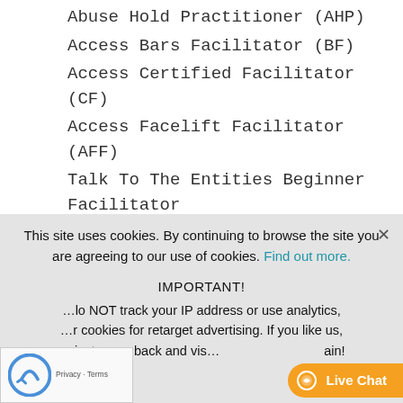Abuse Hold Practitioner (AHP)
Access Bars Facilitator (BF)
Access Certified Facilitator (CF)
Access Facelift Facilitator (AFF)
Talk To The Entities Beginner Facilitator (TTTE CF)
Location:
Corte Madera (Marin), San Francisco Bay Area, California, USA
This site uses cookies. By continuing to browse the site you are agreeing to our use of cookies. Find out more.
IMPORTANT!
do NOT track your IP address or use analytics, or cookies for retarget advertising. If you like us, just come back and visit us again!